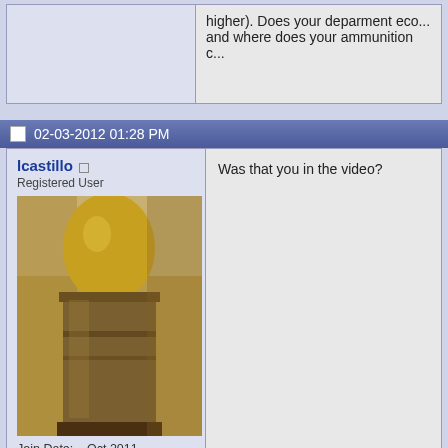higher). Does your deparment eco... and where does your ammunition c...
02-03-2012 01:28 PM
lcastillo
Registered User
Join Date: Oct 2011
Location: Des Moines
Posts: 4,509
[Figure (photo): Photo of a gold and dark metallic bullet or grenade round]
Was that you in the video?
02-04-2012 12:54 AM
lcastillo
Registered User
Ruski, I know you are dying to get ... added some pictures and informati... meantime here http://www.uzitalk.c...